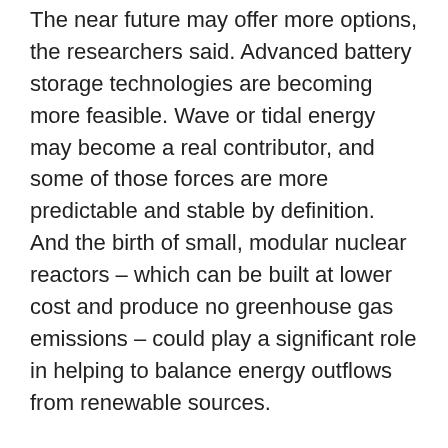The near future may offer more options, the researchers said. Advanced battery storage technologies are becoming more feasible. Wave or tidal energy may become a real contributor, and some of those forces are more predictable and stable by definition. And the birth of small, modular nuclear reactors – which can be built at lower cost and produce no greenhouse gas emissions – could play a significant role in helping to balance energy outflows from renewable sources.
The long-term goal, the report concluded, is to identify technologies that can work in a hybrid system that offers consistency, dependability and doesn't rely on fossil fuels. With careful matching of systems, improved transmission abilities and some